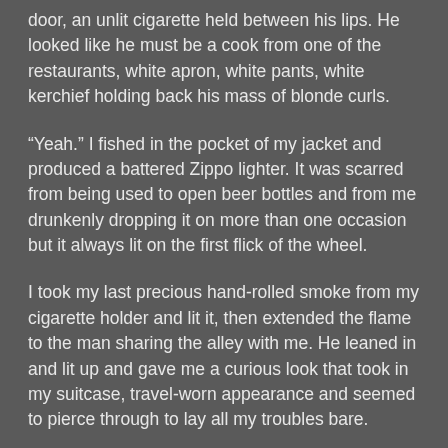door, an unlit cigarette held between his lips. He looked like he must be a cook from one of the restaurants, white apron, white pants, white kerchief holding back his mass of blonde curls.
“Yeah.”  I fished in the pocket of my jacket and produced a battered Zippo lighter.  It was scarred from being used to open beer bottles and from me drunkenly dropping it on more than one occasion but it always lit on the first flick of the wheel.
I took my last precious hand-rolled smoke from my cigarette holder and lit it, then extended the flame to the man sharing the alley with me.  He leaned in and lit up and gave me a curious look that took in my suitcase, travel-worn appearance and seemed to pierce through to lay all my troubles bare.